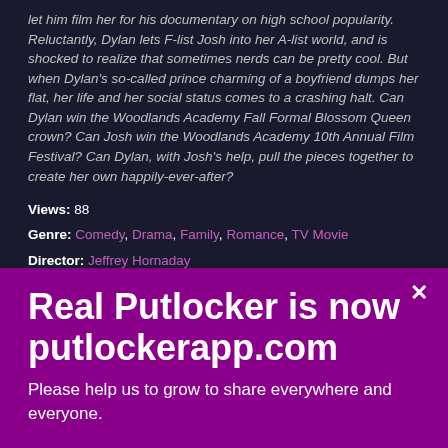let him film her for his documentary on high school popularity. Reluctantly, Dylan lets F-list Josh into her A-list world, and is shocked to realize that sometimes nerds can be pretty cool. But when Dylan's so-called prince charming of a boyfriend dumps her flat, her life and her social status comes to a crashing halt. Can Dylan win the Woodlands Academy Fall Formal Blossom Queen crown? Can Josh win the Woodlands Academy 10th Annual Film Festival? Can Dylan, with Josh's help, pull the pieces together to create her own happily-ever-after?
Views: 88
Genre: Comedy, Drama, Family, Romance, TV Movie
Director: Jeffrey Hornaday
Actors: Andrew Airlie, David Del Rio, Jimmy Bellinger, Jordan Nichols, Kacey Rohl, Lili Simmons, Lilli Birdsell, Matt Prokop, Sarah Hyland, Sasha Pieterse, Vanessa Morgan
Duration: 97
Real Putlocker is now putlockerapp.com
Please help us to grow to share everywhere and everyone.